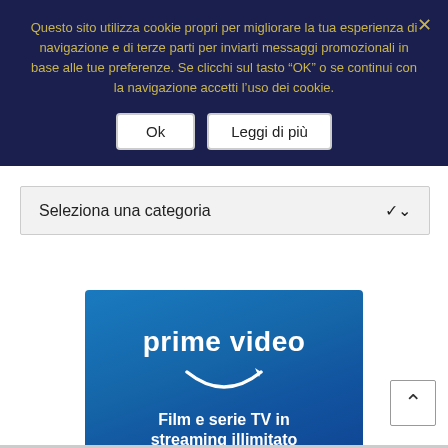Questo sito utilizza cookie propri per migliorare la tua esperienza di navigazione e di terze parti per inviarti messaggi promozionali in base alle tue preferenze. Se clicchi sul tasto “OK” o se continui con la navigazione accetti l’uso dei cookie.
Ok
Leggi di più
Seleziona una categoria
[Figure (illustration): Amazon Prime Video advertisement banner with blue gradient background, 'prime video' text in bold white, a white curved arrow smile logo, and subtitle text 'Film e serie TV in streaming illimitato' in white.]